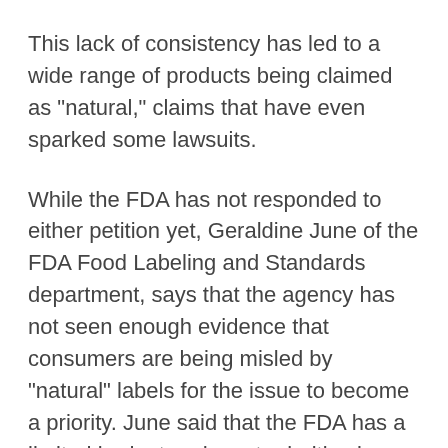This lack of consistency has led to a wide range of products being claimed as "natural," claims that have even sparked some lawsuits.
While the FDA has not responded to either petition yet, Geraldine June of the FDA Food Labeling and Standards department, says that the agency has not seen enough evidence that consumers are being misled by "natural" labels for the issue to become a priority. June said that the FDA has a limited budget and must prioritize issues that have an impact on health and safety, including health and nutrient claims, allergen declarations and irradiation labeling.
"Even if people interpret ["natural"] in different ways, it doesn't mean there is confusion out there," June said. "If